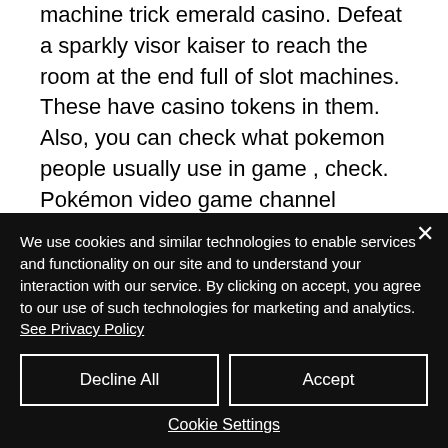machine trick emerald casino. Defeat a sparkly visor kaiser to reach the room at the end full of slot machines. These have casino tokens in them. Also, you can check what pokemon people usually use in game , check. Pokémon video game channel published march 8, 2022 12 views. Pokemon unbound is one of the more popular rom hacks in recent months. When this code is active and you use a slot machine at the game corner,
We use cookies and similar technologies to enable services and functionality on our site and to understand your interaction with our service. By clicking on accept, you agree to our use of such technologies for marketing and analytics. See Privacy Policy
Decline All
Accept
Cookie Settings